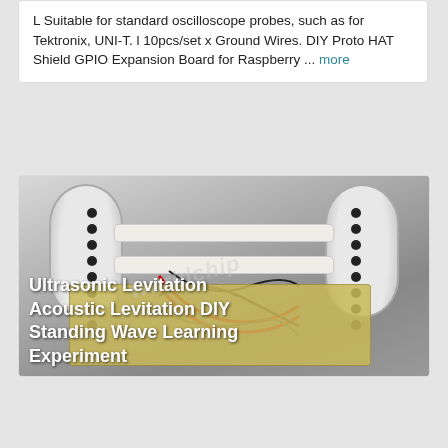L Suitable for standard oscilloscope probes, such as for Tektronix, UNI-T. l 10pcs/set x Ground Wires. DIY Proto HAT Shield GPIO Expansion Board for Raspberry ... more
[Figure (photo): Ultrasonic/Acoustic levitation DIY kit showing two circular transducer arrays connected by horizontal white bars, with a circuit board and wiring below. White overlay text reads: Ultrasonic Levitation Acoustic Levitation DIY Standing Wave Learning Experiment]
$92.86
Condition: New
Buy It Now
Free Shipping